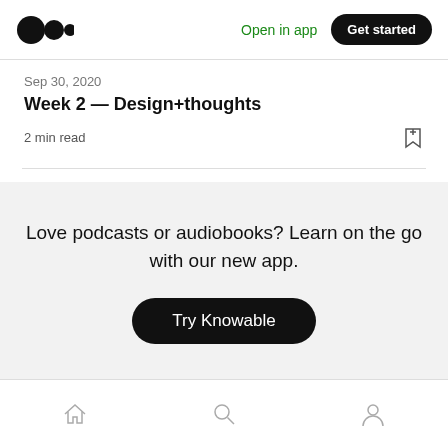Medium logo | Open in app | Get started
Sep 30, 2020
Week 2 — Design+thoughts
2 min read
Love podcasts or audiobooks? Learn on the go with our new app.
Try Knowable
Home | Search | Profile